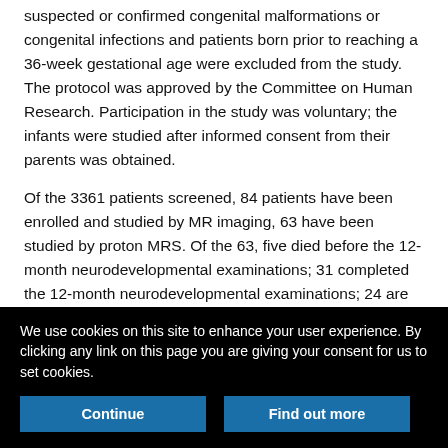suspected or confirmed congenital malformations or congenital infections and patients born prior to reaching a 36-week gestational age were excluded from the study. The protocol was approved by the Committee on Human Research. Participation in the study was voluntary; the infants were studied after informed consent from their parents was obtained.

Of the 3361 patients screened, 84 patients have been enrolled and studied by MR imaging, 63 have been studied by proton MRS. Of the 63, five died before the 12-month neurodevelopmental examinations; 31 completed the 12-month neurodevelopmental examinations; 24 are awaiting the 12-month neurodevelopmental examinations, and three are lost to follow-up. The 31 patients with completed 12-month examinations comprise the group reported in this article. Patient age
We use cookies on this site to enhance your user experience. By clicking any link on this page you are giving your consent for us to set cookies.